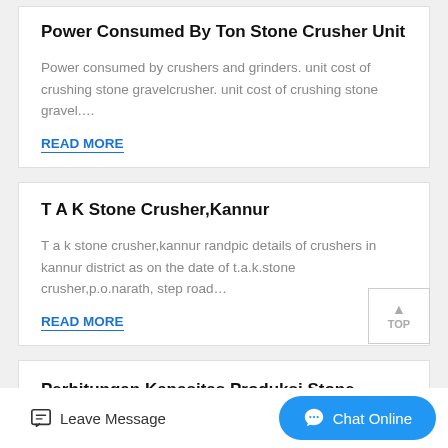Power Consumed By Ton Stone Crusher Unit
Power consumed by crushers and grinders. unit cost of crushing stone gravelcrusher. unit cost of crushing stone gravel….
READ MORE
T A K Stone Crusher,Kannur
T a k stone crusher,kannur randpic details of crushers in kannur district as on the date of t.a.k.stone crusher,p.o.narath, step road…
READ MORE
Perhitungan Kapasitas Produksi Stone Crusher,Kapasitas
Leave Message
Chat Online